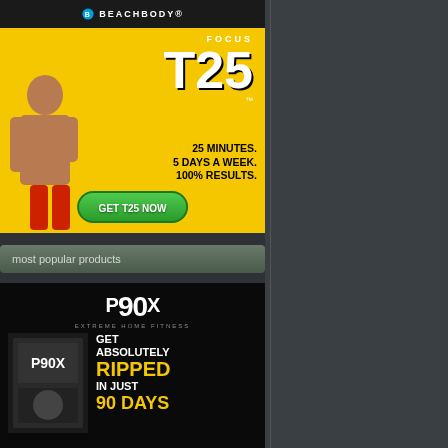[Figure (photo): Beachbody Focus T25 advertisement: 25 Minutes. 5 Days a Week. 100% Results. GET T25 NOW]
most popular products
[Figure (photo): P90X Extreme Home Fitness advertisement: Get Absolutely Ripped in Just 90 Days]
particular target zones (like “Just great to sprinkle into a routine to
My favorite way to use the vast a for several rounds. I can change i
Then, for those of you who want P90X2, Asylum, and Body Beas Insanity, because you have to ha
So there you have it. Think abou Bring It!
Related Posts
None
You may also like:
[Figure (photo): Placeholder image for related post]